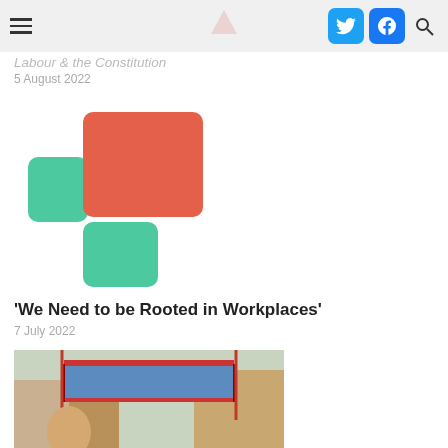Labour & the Constitution | 5 August 2022
[Figure (logo): Decorative logo graphic with coral/red and teal/green rounded rectangles forming an abstract stacked plus shape]
'We Need to be Rooted in Workplaces'
7 July 2022
[Figure (photo): Outdoor street scene with a man partially visible and a union trade banner with blue and red design displayed overhead, brick buildings in background]